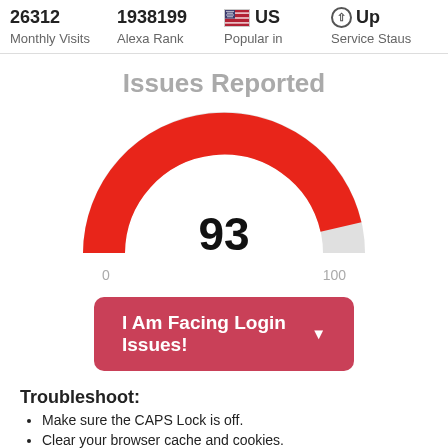| Metric | Value | Popular in | Service Status |
| --- | --- | --- | --- |
| 26312 Monthly Visits | 1938199 Alexa Rank | 🇺🇸 US | ⊕ Up Service Staus |
Issues Reported
[Figure (other): Gauge/speedometer chart showing 93 out of 100 issues reported, with a large red arc covering most of the semicircle and a small grey arc at the end. Labels: 0 on left, 100 on right.]
I Am Facing Login Issues! ▼
Troubleshoot:
Make sure the CAPS Lock is off.
Clear your browser cache and cookies.